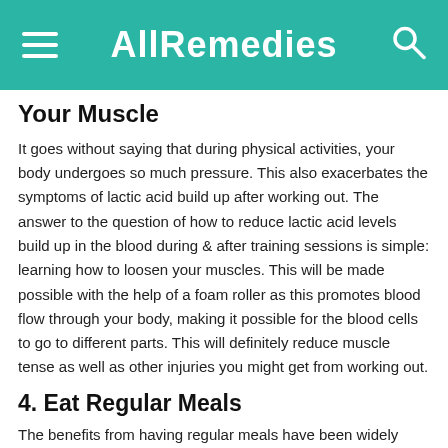AllRemedies
Your Muscle
It goes without saying that during physical activities, your body undergoes so much pressure. This also exacerbates the symptoms of lactic acid build up after working out. The answer to the question of how to reduce lactic acid levels build up in the blood during & after training sessions is simple: learning how to loosen your muscles. This will be made possible with the help of a foam roller as this promotes blood flow through your body, making it possible for the blood cells to go to different parts. This will definitely reduce muscle tense as well as other injuries you might get from working out.
4. Eat Regular Meals
The benefits from having regular meals have been widely recognized by experts in nutrition and fitness. Not only is it a way to answer to your hunger cues, but it is also efficient as a technique